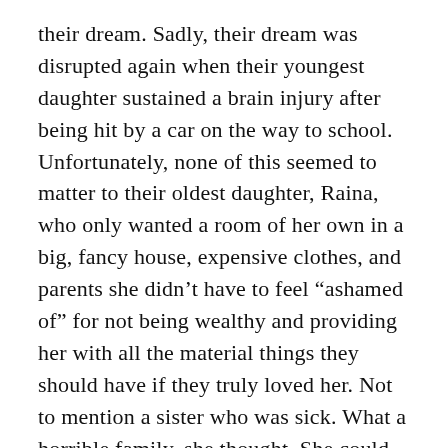their dream. Sadly, their dream was disrupted again when their youngest daughter sustained a brain injury after being hit by a car on the way to school. Unfortunately, none of this seemed to matter to their oldest daughter, Raina, who only wanted a room of her own in a big, fancy house, expensive clothes, and parents she didn't have to feel “ashamed of” for not being wealthy and providing her with all the material things they should have if they truly loved her. Not to mention a sister who was sick. What a horrible family, she thought. She could not wait to leave and when she did Raina married a career driven man who could give her the wealth she'd